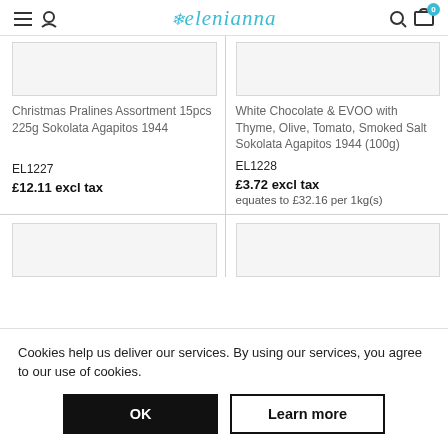elenianna (logo with navigation icons)
Christmas Pralines Assortment 15pcs 225g Sokolata Agapitos 1944
EL1227
£12.11 excl tax
White Chocolate & EVOO with Thyme, Olive, Tomato, Smoked Salt Sokolata Agapitos 1944 (100g)
EL1228
£3.72 excl tax
equates to £32.16 per 1kg(s)
Cookies help us deliver our services. By using our services, you agree to our use of cookies.
OK
Learn more